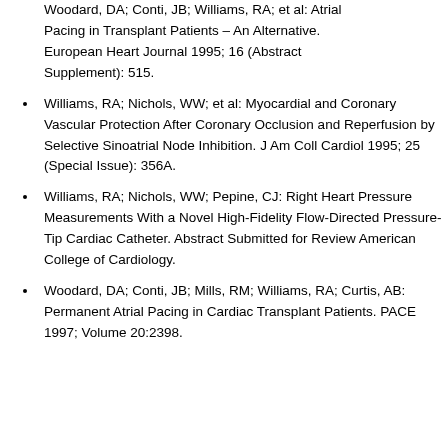Woodard, DA; Conti, JB; Williams, RA; et al: Atrial Pacing in Transplant Patients – An Alternative. European Heart Journal 1995; 16 (Abstract Supplement): 515.
Williams, RA; Nichols, WW; et al: Myocardial and Coronary Vascular Protection After Coronary Occlusion and Reperfusion by Selective Sinoatrial Node Inhibition. J Am Coll Cardiol 1995; 25 (Special Issue): 356A.
Williams, RA; Nichols, WW; Pepine, CJ: Right Heart Pressure Measurements With a Novel High-Fidelity Flow-Directed Pressure-Tip Cardiac Catheter. Abstract Submitted for Review American College of Cardiology.
Woodard, DA; Conti, JB; Mills, RM; Williams, RA; Curtis, AB: Permanent Atrial Pacing in Cardiac Transplant Patients. PACE 1997; Volume 20:2398.